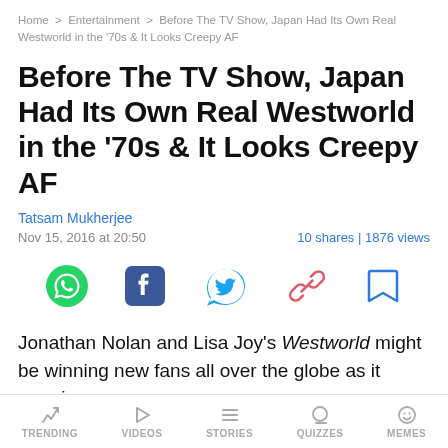Home > Entertainment > Before The TV Show, Japan Had Its Own Real Westworld in the '70s & It Looks Creepy AF
Before The TV Show, Japan Had Its Own Real Westworld in the '70s & It Looks Creepy AF
Tatsam Mukherjee
Nov 15, 2016 at 20:50    10 shares | 1876 views
[Figure (infographic): Social share icons: WhatsApp (green), Facebook (dark blue), Twitter (blue bird), link/copy (red chain), bookmark (blue outline)]
Jonathan Nolan and Lisa Joy's Westworld might be winning new fans all over the globe as it premieres
TRENDING   VIDEOS   STORIES   QUIZZES   MEMES